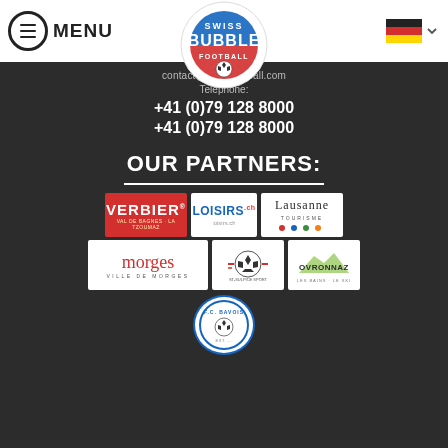MENU | Swiss Bubble Football logo | DE language selector
contact@...football.com
Telephone:
+41 (0)79 128 8000
+41 (0)79 128 8000
OUR PARTNERS:
[Figure (logo): Partner logos grid: Verbier, Loisirs.ch, Lausanne Tourisme, morges ville de morges, Saint-Sulpice Sport, Ovronnaz, FC Bavois]